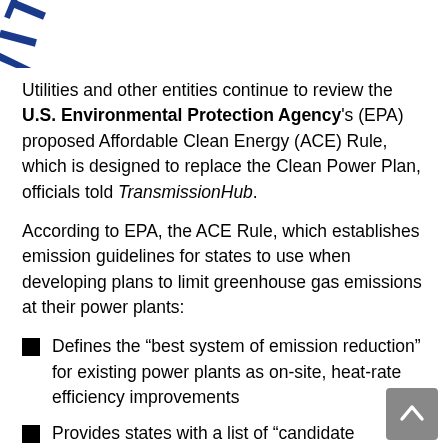[Figure (logo): Partial circular stamp/logo with blue text reading 'TAL PROTEC' (partial, curved arc)]
Utilities and other entities continue to review the U.S. Environmental Protection Agency's (EPA) proposed Affordable Clean Energy (ACE) Rule, which is designed to replace the Clean Power Plan, officials told TransmissionHub.
According to EPA, the ACE Rule, which establishes emission guidelines for states to use when developing plans to limit greenhouse gas emissions at their power plants:
Defines the “best system of emission reduction” for existing power plants as on-site, heat-rate efficiency improvements
Provides states with a list of “candidate technologies” that can be used to establish standards of